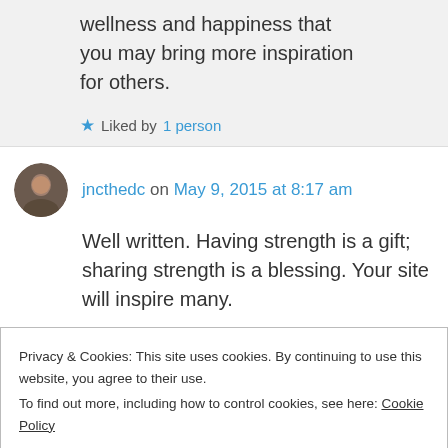wellness and happiness that you may bring more inspiration for others.
★ Liked by 1 person
jncthedc on May 9, 2015 at 8:17 am
Well written. Having strength is a gift; sharing strength is a blessing. Your site will inspire many.
★ Liked by 1 person
Privacy & Cookies: This site uses cookies. By continuing to use this website, you agree to their use.
To find out more, including how to control cookies, see here: Cookie Policy
Close and accept
Thank you!